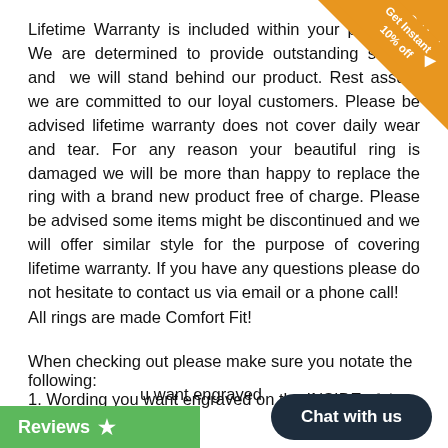Lifetime Warranty is included within your purchase! We are determined to provide outstanding service and we will stand behind our product. Rest assure we are committed to our loyal customers. Please be advised lifetime warranty does not cover daily wear and tear. For any reason your beautiful ring is damaged we will be more than happy to replace the ring with a brand new product free of charge. Please be advised some items might be discontinued and we will offer similar style for the purpose of covering lifetime warranty. If you have any questions please do not hesitate to contact us via email or a phone call!
All rings are made Comfort Fit!
When checking out please make sure you notate the following:
1. Wording you want engraved on the INSIDE of the ring
2. Size of ring
u want engraved
[Figure (other): Orange corner ribbon banner saying 'Get Instant 10% off' with a right-pointing arrow]
[Figure (other): Dark rounded rectangle chat button saying 'Chat with us']
Reviews ★